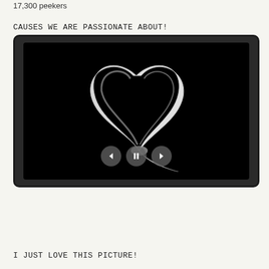17,300 peekers
CAUSES WE ARE PASSIONATE ABOUT!
[Figure (photo): A white awareness ribbon on a black background inside a dark rounded-corner slideshow frame with previous, pause, and next navigation controls at the bottom.]
I JUST LOVE THIS PICTURE!